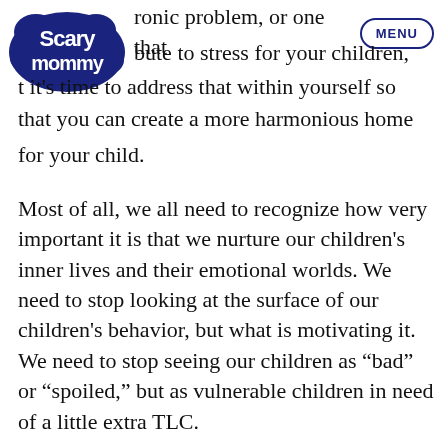[Figure (logo): Scary Mommy logo in dark navy blue with cursive/bubble text]
MENU
(…ronic problem, or one that …bute to stress for your children, …t it's time to address that within yourself so that you can create a more harmonious home for your child.
Most of all, we all need to recognize how very important it is that we nurture our children's inner lives and their emotional worlds. We need to stop looking at the surface of our children's behavior, but what is motivating it. We need to stop seeing our children as “bad” or “spoiled,” but as vulnerable children in need of a little extra TLC.